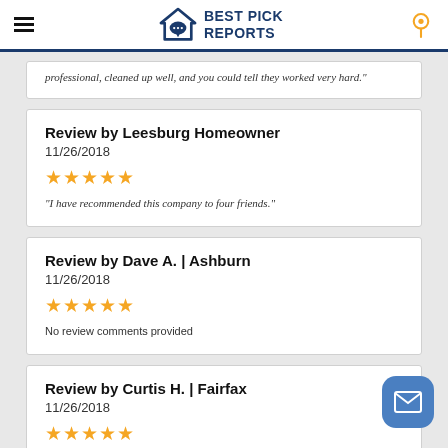Best Pick Reports
professional, cleaned up well, and you could tell they worked very hard."
Review by Leesburg Homeowner
11/26/2018
★★★★★
"I have recommended this company to four friends."
Review by Dave A. | Ashburn
11/26/2018
★★★★★
No review comments provided
Review by Curtis H. | Fairfax
11/26/2018
★★★★★